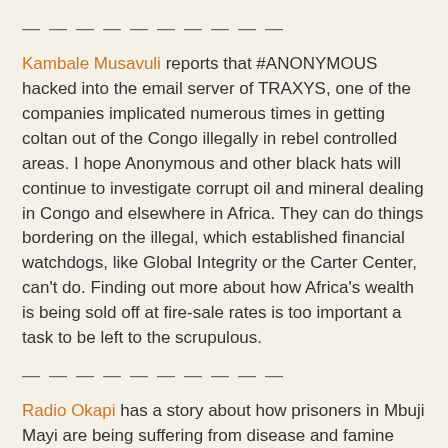— — — — — — — — — —
Kambale Musavuli reports that #ANONYMOUS hacked into the email server of TRAXYS, one of the companies implicated numerous times in getting coltan out of the Congo illegally in rebel controlled areas. I hope Anonymous and other black hats will continue to investigate corrupt oil and mineral dealing in Congo and elsewhere in Africa. They can do things bordering on the illegal, which established financial watchdogs, like Global Integrity or the Carter Center, can't do. Finding out more about how Africa's wealth is being sold off at fire-sale rates is too important a task to be left to the scrupulous.
— — — — — — — — — —
Radio Okapi has a story about how prisoners in Mbuji Mayi are being suffering from disease and famine because five times as many prisoners are being held than the jail was built for. The radio service is also reporting that the army killed six mai mai in Beni.